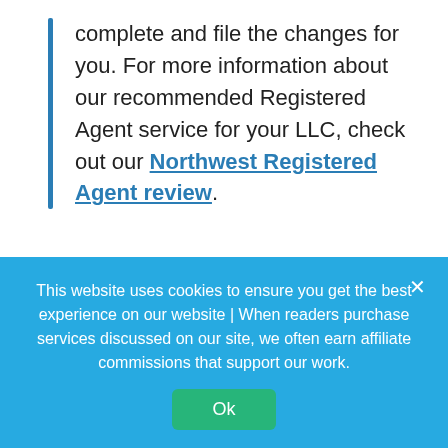complete and file the changes for you. For more information about our recommended Registered Agent service for your LLC, check out our Northwest Registered Agent review.
Recommended Registered Agent Service
We recommend Northwest Registered Agent, which offers their Washington DC registered
This website uses cookies to ensure you get the best experience on our website | When readers purchase services discussed on our site, we often earn affiliate commissions that support our work.